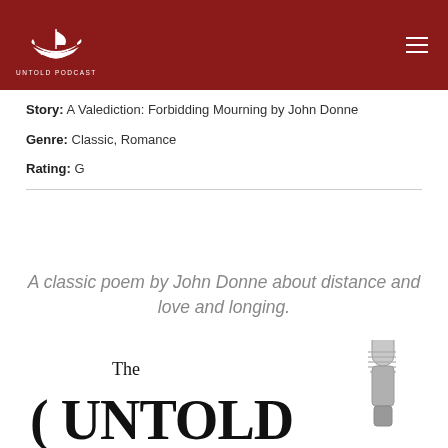Untold Podcast
Story: A Valediction: Forbidding Mourning by John Donne
Genre: Classic, Romance
Rating: G
A classic poem by John Donne about distance and love and longing.
[Figure (logo): The Untold Podcast logo with microphone]